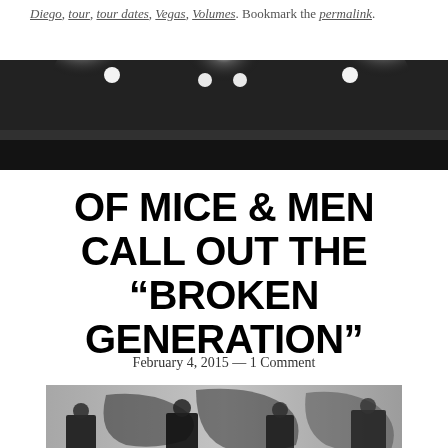Diego, tour, tour dates, Vegas, Volumes. Bookmark the permalink.
[Figure (photo): Black and white stage photo with bright stage lights against a dark background]
OF MICE & MEN CALL OUT THE “BROKEN GENERATION”
February 4, 2015 — 1 Comment
[Figure (photo): Black and white photo of band members standing in front of a graffiti wall]